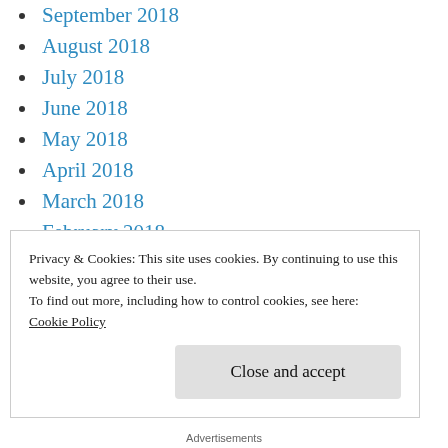September 2018
August 2018
July 2018
June 2018
May 2018
April 2018
March 2018
February 2018
January 2018
December 2017
November 2017
Privacy & Cookies: This site uses cookies. By continuing to use this website, you agree to their use.
To find out more, including how to control cookies, see here:
Cookie Policy
Close and accept
Advertisements